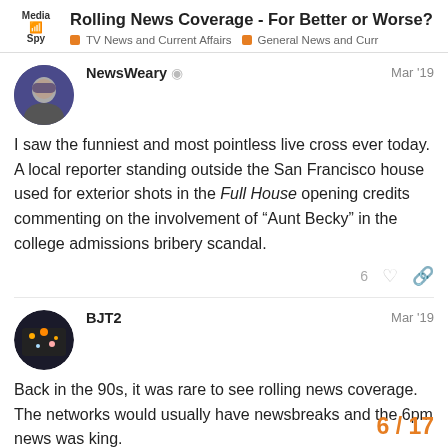Rolling News Coverage - For Better or Worse? | TV News and Current Affairs > General News and Curr
NewsWeary  Mar '19
I saw the funniest and most pointless live cross ever today. A local reporter standing outside the San Francisco house used for exterior shots in the Full House opening credits commenting on the involvement of “Aunt Becky” in the college admissions bribery scandal.
BJT2  Mar '19
Back in the 90s, it was rare to see rolling news coverage. The networks would usually have newsbreaks and the 6pm news was king.
6 / 17